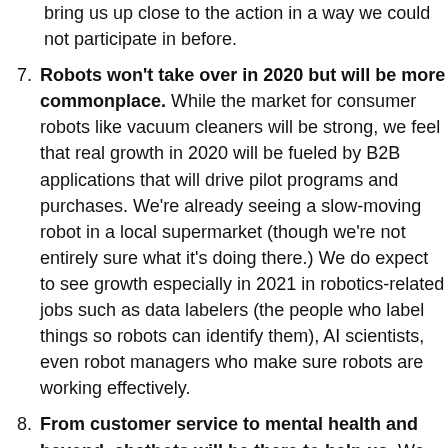bring us up close to the action in a way we could not participate in before.
7. Robots won't take over in 2020 but will be more commonplace. While the market for consumer robots like vacuum cleaners will be strong, we feel that real growth in 2020 will be fueled by B2B applications that will drive pilot programs and purchases. We're already seeing a slow-moving robot in a local supermarket (though we're not entirely sure what it's doing there.) We do expect to see growth especially in 2021 in robotics-related jobs such as data labelers (the people who label things so robots can identify them), AI scientists, even robot managers who make sure robots are working effectively.
8. From customer service to mental health and beyond, chatbots will be there to help us. We expect to see more AI-enabled chatbots to help run things more effectively. In the near future, chatbots will not only answer questions more effectively (rather than posting some links for further information based on the topic you enter to get more assistance) but can help you navigate websites so that you can place an order